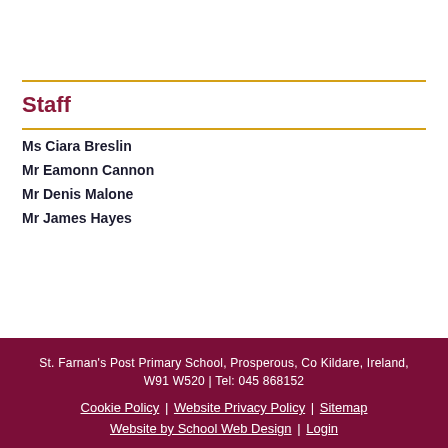Staff
Ms Ciara Breslin
Mr Eamonn Cannon
Mr Denis Malone
Mr James Hayes
St. Farnan's Post Primary School, Prosperous, Co Kildare, Ireland, W91 W520 | Tel: 045 868152
Cookie Policy | Website Privacy Policy | Sitemap
Website by School Web Design | Login